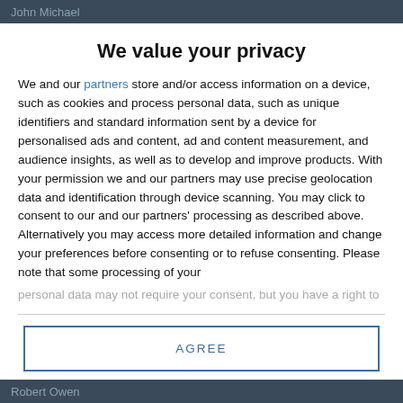John Michael
We value your privacy
We and our partners store and/or access information on a device, such as cookies and process personal data, such as unique identifiers and standard information sent by a device for personalised ads and content, ad and content measurement, and audience insights, as well as to develop and improve products. With your permission we and our partners may use precise geolocation data and identification through device scanning. You may click to consent to our and our partners' processing as described above. Alternatively you may access more detailed information and change your preferences before consenting or to refuse consenting. Please note that some processing of your
personal data may not require your consent, but you have a right to
AGREE
MORE OPTIONS
Robert Owen